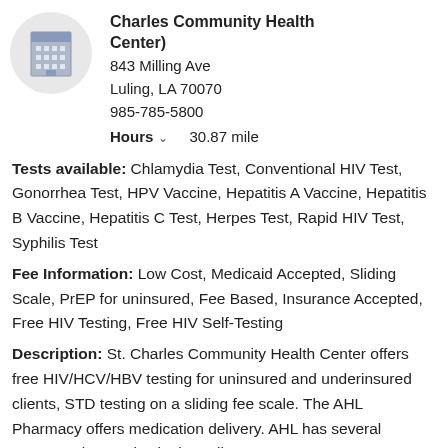[Figure (logo): Building/hospital icon in a circular grey background]
Charles Community Health Center)
843 Milling Ave
Luling, LA 70070
985-785-5800
Hours  30.87 mile
Tests available: Chlamydia Test, Conventional HIV Test, Gonorrhea Test, HPV Vaccine, Hepatitis A Vaccine, Hepatitis B Vaccine, Hepatitis C Test, Herpes Test, Rapid HIV Test, Syphilis Test
Fee Information: Low Cost, Medicaid Accepted, Sliding Scale, PrEP for uninsured, Fee Based, Insurance Accepted, Free HIV Testing, Free HIV Self-Testing
Description: St. Charles Community Health Center offers free HIV/HCV/HBV testing for uninsured and underinsured clients, STD testing on a sliding fee scale. The AHL Pharmacy offers medication delivery. AHL has several 340Best pharmacies in the Luling